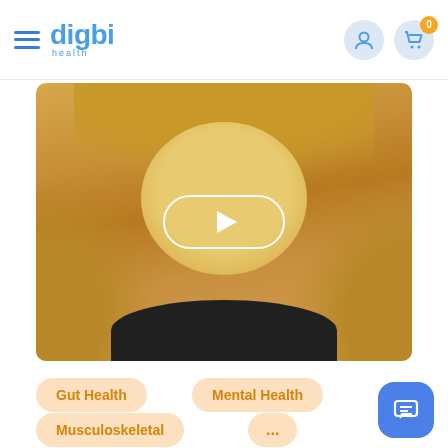digbi health — navigation header with hamburger menu, user icon, and cart icon (0 items)
[Figure (photo): Video thumbnail showing a smiling blonde woman with a white play button overlay in a rounded rectangle, warm golden/tan background]
Gut Health
Mental Health
Musculoskeletal
...